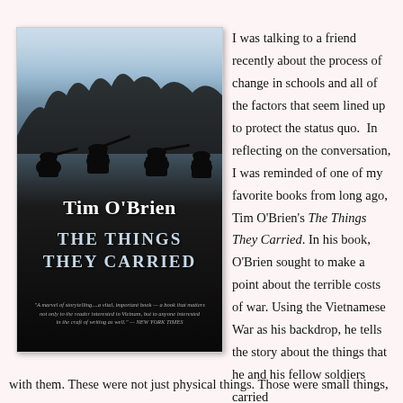[Figure (illustration): Book cover of 'The Things They Carried' by Tim O'Brien. Dark cover with silhouettes of soldiers against a pale blue-gray sky. Author name 'Tim O'Brien' in white serif font, book title 'THE THINGS THEY CARRIED' in light blue uppercase serif font. A New York Times quote at the bottom in small italic text.]
I was talking to a friend recently about the process of change in schools and all of the factors that seem lined up to protect the status quo.  In reflecting on the conversation, I was reminded of one of my favorite books from long ago, Tim O'Brien's The Things They Carried. In his book, O'Brien sought to make a point about the terrible costs of war. Using the Vietnamese War as his backdrop, he tells the story about the things that he and his fellow soldiers carried with them. These were not just physical things. Those were small things,